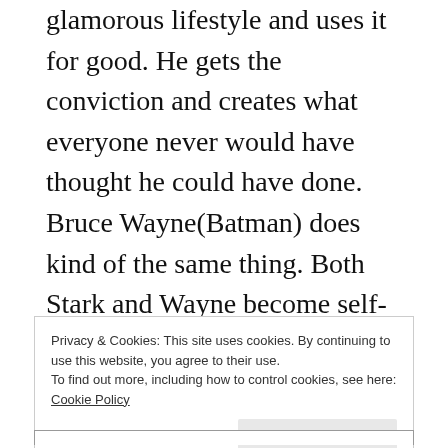to see it. Stark takes his bad boy, bad attitude, glamorous lifestyle and uses it for good. He gets the conviction and creates what everyone never would have thought he could have done. Bruce Wayne(Batman) does kind of the same thing. Both Stark and Wayne become self-made superheroes. However, Captain America is already sort of a good guy and loyal and is supposed to represent the sincere soldier patriot that we assume everyone is before they go to Iraq and Afghanistan. But this sequel plays it in a whole new and very non-boring way.
Privacy & Cookies: This site uses cookies. By continuing to use this website, you agree to their use. To find out more, including how to control cookies, see here: Cookie Policy
Close and accept